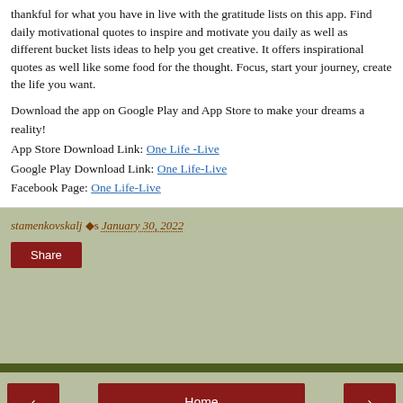thankful for what you have in live with the gratitude lists on this app. Find daily motivational quotes to inspire and motivate you daily as well as different bucket lists ideas to help you get creative. It offers inspirational quotes as well like some food for the thought. Focus, start your journey, create the life you want.
Download the app on Google Play and App Store to make your dreams a reality! App Store Download Link: One Life -Live Google Play Download Link: One Life-Live Facebook Page: One Life-Live
stamenkovskalj ◆s January 30, 2022
Share
Home | View web version